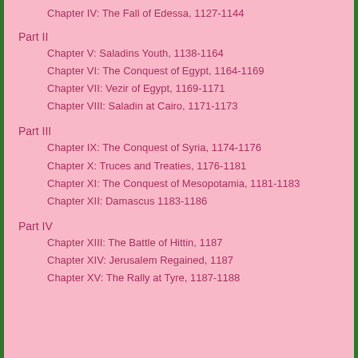Chapter IV: The Fall of Edessa, 1127-1144
Part II
Chapter V: Saladins Youth, 1138-1164
Chapter VI: The Conquest of Egypt, 1164-1169
Chapter VII: Vezir of Egypt, 1169-1171
Chapter VIII: Saladin at Cairo, 1171-1173
Part III
Chapter IX: The Conquest of Syria, 1174-1176
Chapter X: Truces and Treaties, 1176-1181
Chapter XI: The Conquest of Mesopotamia, 1181-1183
Chapter XII: Damascus 1183-1186
Part IV
Chapter XIII: The Battle of Hittin, 1187
Chapter XIV: Jerusalem Regained, 1187
Chapter XV: The Rally at Tyre, 1187-1188